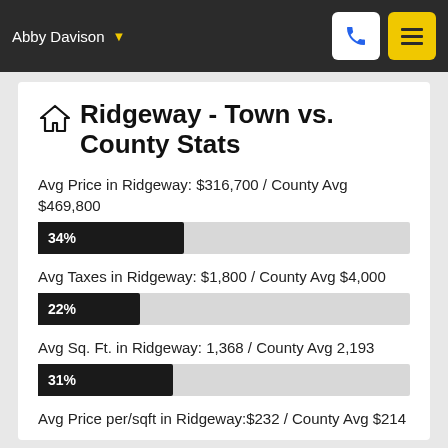Abby Davison
Ridgeway - Town vs. County Stats
Avg Price in Ridgeway: $316,700 / County Avg $469,800
[Figure (bar-chart): Avg Price comparison]
Avg Taxes in Ridgeway: $1,800 / County Avg $4,000
[Figure (bar-chart): Avg Taxes comparison]
Avg Sq. Ft. in Ridgeway: 1,368 / County Avg 2,193
[Figure (bar-chart): Avg Sq. Ft. comparison]
Avg Price per/sqft in Ridgeway:$232 / County Avg $214